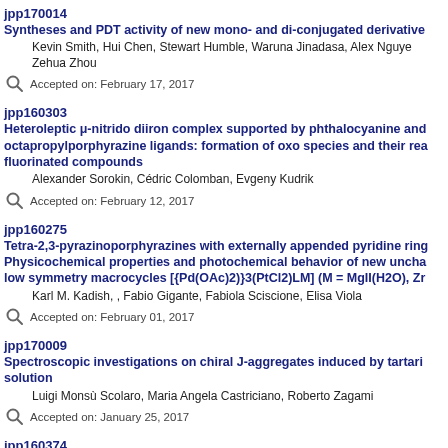jpp170014
Syntheses and PDT activity of new mono- and di-conjugated derivative
Kevin Smith, Hui Chen, Stewart Humble, Waruna Jinadasa, Alex Nguye
Zehua Zhou
Accepted on: February 17, 2017
jpp160303
Heteroleptic μ-nitrido diiron complex supported by phthalocyanine and octapropylporphyrazine ligands: formation of oxo species and their rea fluorinated compounds
Alexander Sorokin, Cédric Colomban, Evgeny Kudrik
Accepted on: February 12, 2017
jpp160275
Tetra-2,3-pyrazinoporphyrazines with externally appended pyridine ring Physicochemical properties and photochemical behavior of new uncha low symmetry macrocycles [{Pd(OAc)2)}3(PtCl2)LM] (M = MgII(H2O), Zr
Karl M. Kadish, , Fabio Gigante, Fabiola Sciscione, Elisa Viola
Accepted on: February 01, 2017
jpp170009
Spectroscopic investigations on chiral J-aggregates induced by tartari solution
Luigi Monsù Scolaro, Maria Angela Castriciano, Roberto Zagami
Accepted on: January 25, 2017
jpp160374